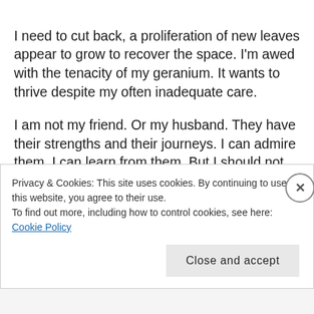I need to cut back, a proliferation of new leaves appear to grow to recover the space. I'm awed with the tenacity of my geranium. It wants to thrive despite my often inadequate care.
I am not my friend. Or my husband. They have their strengths and their journeys. I can admire them. I can learn from them. But I should not try to be them. Maybe that's why God tells me to rest, so I can give myself a break from, well, me and my desire to be someone I'm not. What I can take away from my friend's journey is that her relationship with God is authentic and a living thing.
Privacy & Cookies: This site uses cookies. By continuing to use this website, you agree to their use.
To find out more, including how to control cookies, see here: Cookie Policy
Close and accept